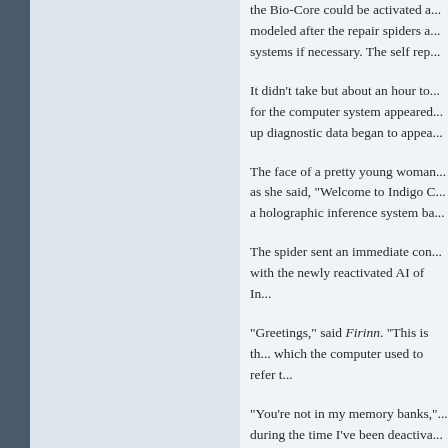the Bio-Core could be activated a... modeled after the repair spiders a... systems if necessary. The self rep...
It didn't take but about an hour to... for the computer system appeared... up diagnostic data began to appea...
The face of a pretty young woman... as she said, "Welcome to Indigo C... a holographic inference system ba...
The spider sent an immediate con... with the newly reactivated AI of In...
"Greetings," said Firinn. "This is th... which the computer used to refer t...
"You're not in my memory banks,"... during the time I've been deactiva... events that happened on Earth?"
"Perhaps you should check your c... established colonies," said Firinn,...